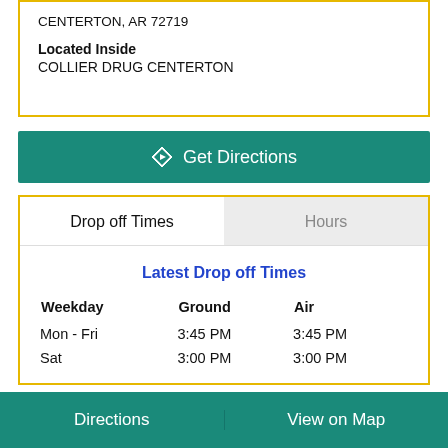CENTERTON, AR 72719
Located Inside
COLLIER DRUG CENTERTON
Get Directions
Drop off Times
Hours
Latest Drop off Times
| Weekday | Ground | Air |
| --- | --- | --- |
| Mon - Fri | 3:45 PM | 3:45 PM |
| Sat | 3:00 PM | 3:00 PM |
Directions
View on Map